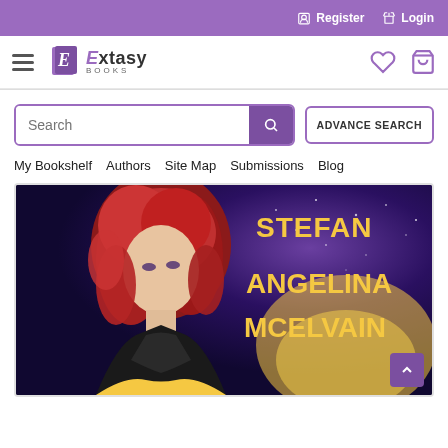Register  Login
[Figure (logo): Extasy Books logo with hamburger menu on left and heart/bag icons on right]
[Figure (screenshot): Search bar with purple search button and ADVANCE SEARCH button]
My Bookshelf   Authors   Site Map   Submissions   Blog
[Figure (photo): Book cover showing a woman with red curly hair against a cosmic background, with text 'STEFAN ANGELINA MCELVAIN' in gold letters]